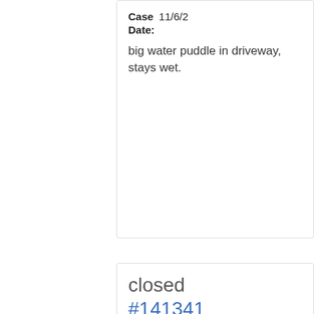Case Date: 11/6/2... big water puddle in driveway, stays wet.
closed #141341 Other 3201 W Fullerton PIKE Case Date: 9/23/2... Left a voice message saying her